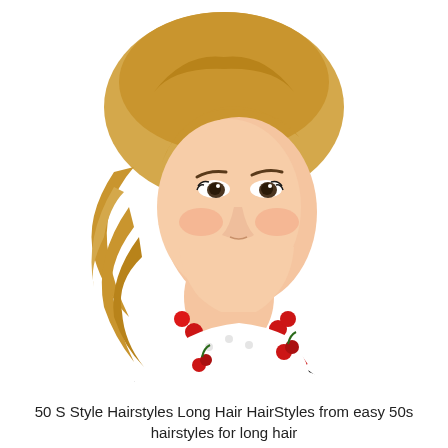[Figure (photo): A young blonde woman with a 1950s-style pin-up hairstyle — voluminous curled updo with loose wavy curls falling to one side. She wears red lipstick, dramatic eye makeup, a large red bead necklace, and a black polka-dot dress with a cherry-print collar trimmed in red. White background.]
50 S Style Hairstyles Long Hair HairStyles from easy 50s hairstyles for long hair